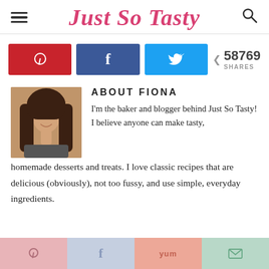Just So Tasty
[Figure (infographic): Social share buttons: Pinterest (red), Facebook (dark blue), Twitter (light blue), with share count 58769 SHARES]
[Figure (photo): Author photo of Fiona, a woman with long dark hair, smiling]
ABOUT FIONA
I'm the baker and blogger behind Just So Tasty! I believe anyone can make tasty, homemade desserts and treats. I love classic recipes that are delicious (obviously), not too fussy, and use simple, everyday ingredients.